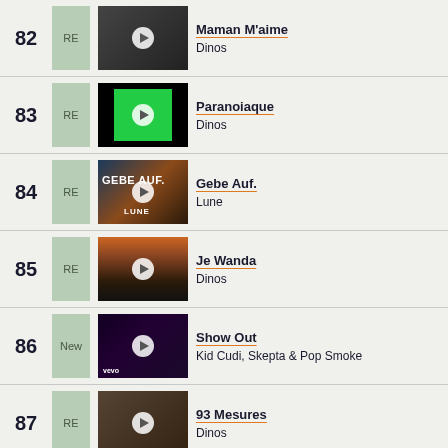82 RE - Maman M'aime - Dinos
83 RE - Paranoiaque - Dinos
84 RE - Gebe Auf. - Lune
85 RE - Je Wanda - Dinos
86 New - Show Out - Kid Cudi, Skepta & Pop Smoke
87 RE - 93 Mesures - Dinos